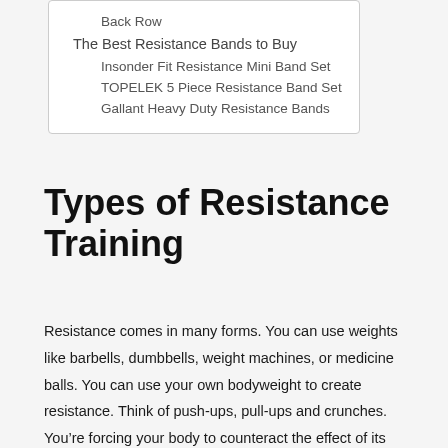Back Row
The Best Resistance Bands to Buy
Insonder Fit Resistance Mini Band Set
TOPELEK 5 Piece Resistance Band Set
Gallant Heavy Duty Resistance Bands
Types of Resistance Training
Resistance comes in many forms. You can use weights like barbells, dumbbells, weight machines, or medicine balls. You can use your own bodyweight to create resistance. Think of push-ups, pull-ups and crunches. You’re forcing your body to counteract the effect of its own weight to work a muscle group.